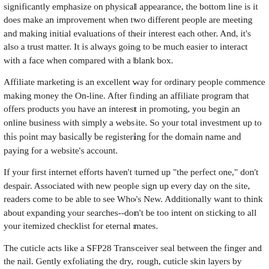significantly emphasize on physical appearance, the bottom line is it does make an improvement when two different people are meeting and making initial evaluations of their interest each other. And, it's also a trust matter. It is always going to be much easier to interact with a face when compared with a blank box.
Affiliate marketing is an excellent way for ordinary people commence making money the On-line. After finding an affiliate program that offers products you have an interest in promoting, you begin an online business with simply a website. So your total investment up to this point may basically be registering for the domain name and paying for a website's account.
If your first internet efforts haven't turned up "the perfect one," don't despair. Associated with new people sign up every day on the site, readers come to be able to see Who's New. Additionally want to think about expanding your searches--don't be too intent on sticking to all your itemized checklist for eternal mates.
The cuticle acts like a SFP28 Transceiver seal between the finger and the nail. Gently exfoliating the dry, rough, cuticle skin layers by actually sloughing off the dead surface layers exposes new and vibrant skin.